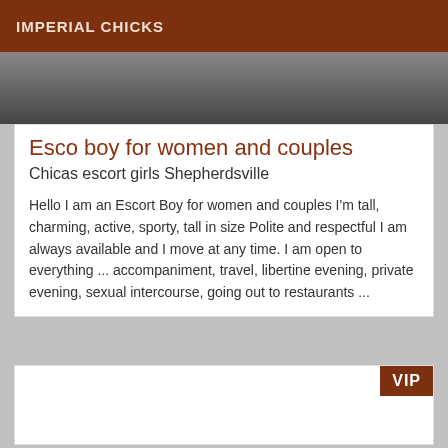IMPERIAL CHICKS
[Figure (photo): Partial photo showing dark clothing/jackets, cropped at top of card]
Esco boy for women and couples
Chicas escort girls Shepherdsville
Hello I am an Escort Boy for women and couples I'm tall, charming, active, sporty, tall in size Polite and respectful I am always available and I move at any time. I am open to everything ... accompaniment, travel, libertine evening, private evening, sexual intercourse, going out to restaurants ...
[Figure (photo): Second listing card with VIP badge, photo area mostly white/empty]